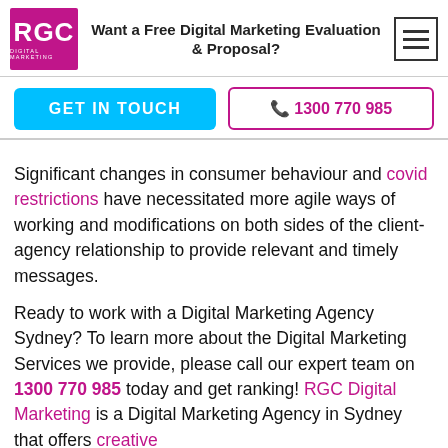RGC Digital Marketing — Want a Free Digital Marketing Evaluation & Proposal?
[Figure (logo): RGC Digital Marketing logo — magenta/pink square with white text 'RGC' and 'DIGITAL MARKETING' below]
Want a Free Digital Marketing Evaluation & Proposal?
GET IN TOUCH
1300 770 985
Significant changes in consumer behaviour and covid restrictions have necessitated more agile ways of working and modifications on both sides of the client-agency relationship to provide relevant and timely messages.
Ready to work with a Digital Marketing Agency Sydney? To learn more about the Digital Marketing Services we provide, please call our expert team on 1300 770 985 today and get ranking! RGC Digital Marketing is a Digital Marketing Agency in Sydney that offers creative